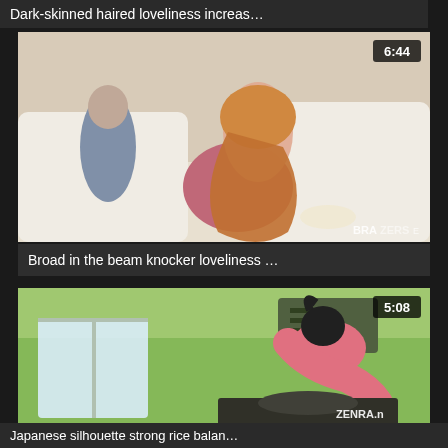Dark-skinned haired loveliness increas…
[Figure (screenshot): Video thumbnail showing a woman with long red hair on a floor near a sofa, with a man seated in background. Duration badge 6:44. Watermark BRAZZERS.]
Broad in the beam knocker loveliness …
[Figure (screenshot): Video thumbnail showing a woman in pink top cooking in a kitchen with green walls. Duration badge 5:08. Watermark ZENRA.net and ZENRA.]
Japanese silhouette strong rice balan…